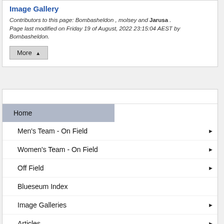Image Gallery
Contributors to this page: Bombasheldon , molsey and Jarusa .
Page last modified on Friday 19 of August, 2022 23:15:04 AEST by Bombasheldon.
Home
Men's Team - On Field ▶
Women's Team - On Field ▶
Off Field ▶
Blueseum Index
Image Galleries ▶
Articles ▶
Fun Stuff ▶